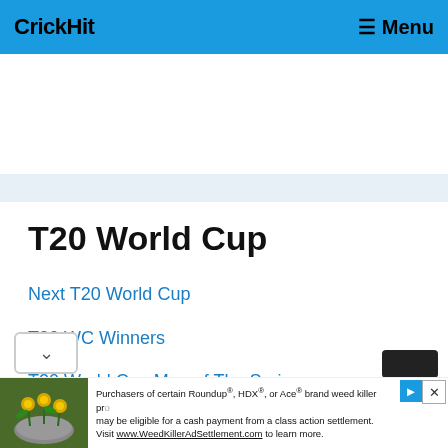CrickHit  Menu
T20 World Cup
Next T20 World Cup
T20 WC Winners
T20 World Cup Man of The Series
2007 Final Match Scoreboard
2009 Final Match Scoreboard
Purchasers of certain Roundup®, HDX®, or Ace® brand weed killer products may be eligible for a cash payment from a class action settlement. Visit www.WeedKillerAdSettlement.com to learn more.